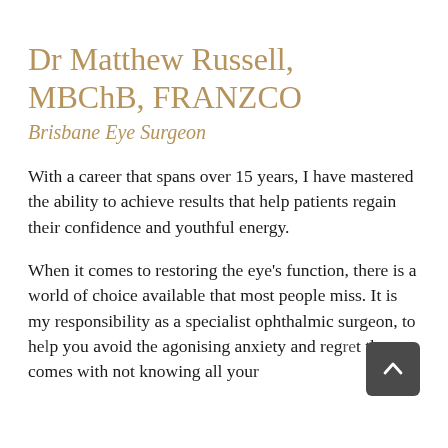Dr Matthew Russell, MBChB, FRANZCO
Brisbane Eye Surgeon
With a career that spans over 15 years, I have mastered the ability to achieve results that help patients regain their confidence and youthful energy.
When it comes to restoring the eye's function, there is a world of choice available that most people miss. It is my responsibility as a specialist ophthalmic surgeon, to help you avoid the agonising anxiety and regret that comes with not knowing all your